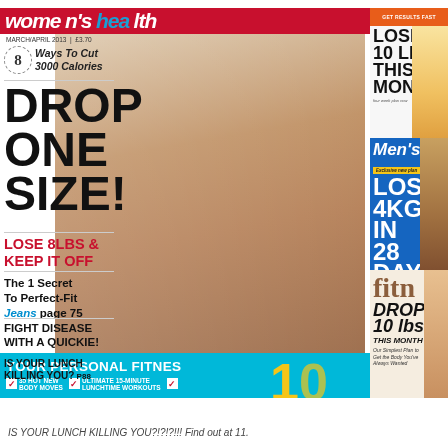[Figure (photo): Collage of three fitness/women's magazine covers: Women's Health (March/April 2013), Men's Fitness, and Fitness magazine, overlapping each other. Women's Health cover features a brunette woman posing in a grey crop sweater and denim shorts. Headlines include 'DROP ONE SIZE!', 'LOSE 8LBS & KEEP IT OFF', '8 Ways To Cut 3000 Calories', 'The 1 Secret To Perfect-Fit Jeans page 75', 'FIGHT DISEASE WITH A QUICKIE!', 'YOUR PERSONAL FITNESS', 'IS YOUR LUNCH KILLING YOU? p88'. Men's Fitness shows 'LOSE 4KG IN 28 DAYS'. Right panel Fitness magazine shows 'DROP 10 lbs THIS MONTH'.]
IS YOUR LUNCH KILLING YOU?!?!?!!! Find out at 11.